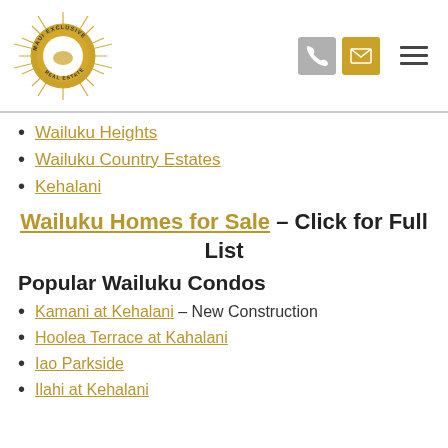Maui Exclusive Real Estate logo with phone and mail icons and menu
Wailuku Heights
Wailuku Country Estates
Kehalani
Wailuku Homes for Sale – Click for Full List
Popular Wailuku Condos
Kamani at Kehalani – New Construction
Hoolea Terrace at Kahalani
Iao Parkside
Ilahi at Kehalani